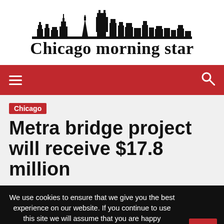[Figure (logo): Chicago morning star newspaper logo with city skyline silhouette above blackletter text]
Navigation bar with hamburger menu and search icon on red background
Chicago
Metra bridge project will receive $17.8 million
We use cookies to ensure that we give you the best experience on our website. If you continue to use this site we will assume that you are happy
Ok   Privacy policy